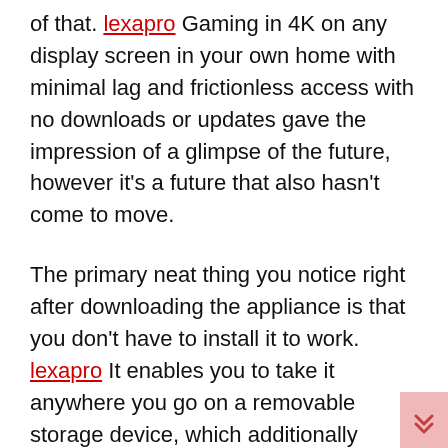of that. lexapro Gaming in 4K on any display screen in your own home with minimal lag and frictionless access with no downloads or updates gave the impression of a glimpse of the future, however it's a future that also hasn't come to move.

The primary neat thing you notice right after downloading the appliance is that you don't have to install it to work. lexapro It enables you to take it anywhere you go on a removable storage device, which additionally means system registries stay intact, not affecting your COMPUTER's health status in any way. Added Contact menu mode support for Gyro, DPad, and ABXY button diamonds sources. Word: this feature requires the Large Image Overlay. Through the launch, Stadia might be solely obtainable on Pixel three and Pixel 3a smartphone.